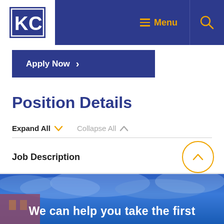KC logo | Menu | Search
Apply Now >
Position Details
Expand All  Collapse All
Job Description +
[Figure (photo): Building exterior against blue cloudy sky with text overlay: We can help you take the first]
We can help you take the first